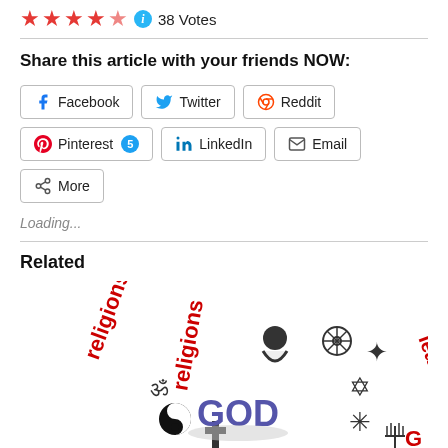38 Votes
Share this article with your friends NOW:
Facebook  Twitter  Reddit  Pinterest 5  LinkedIn  Email  More
Loading...
Related
[Figure (illustration): Circular arrangement of religious symbols (Om, yin-yang, cross, Buddha, Dharma wheel, Baha'i star, Star of David, Jain symbol, Menorah) around the word GOD in blue, with the text 'religions lead to G' in red curved around the arrangement.]